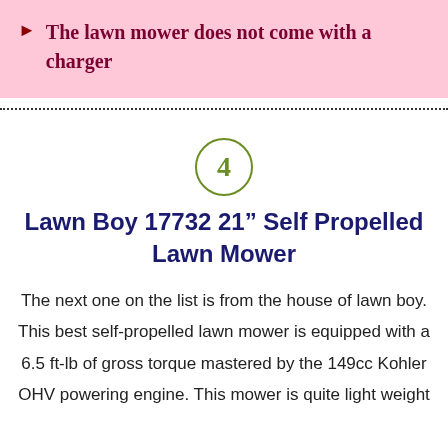The lawn mower does not come with a charger
[Figure (other): Number 4 in a green circle, serving as a section marker]
Lawn Boy 17732 21” Self Propelled Lawn Mower
The next one on the list is from the house of lawn boy. This best self-propelled lawn mower is equipped with a 6.5 ft-lb of gross torque mastered by the 149cc Kohler OHV powering engine. This mower is quite light weight